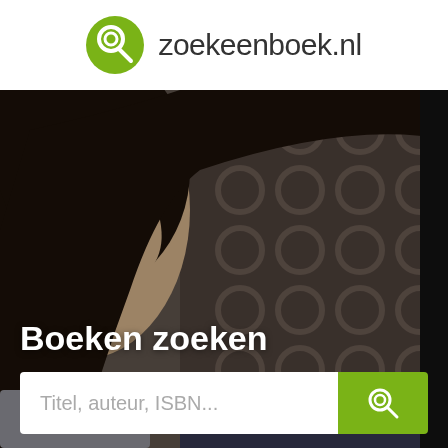[Figure (logo): zoekeenboek.nl logo with green magnifying glass icon and site name text]
[Figure (photo): Hero image of a young woman with dark hair in profile, with patterned curtains in background]
Boeken zoeken
Titel, auteur, ISBN...